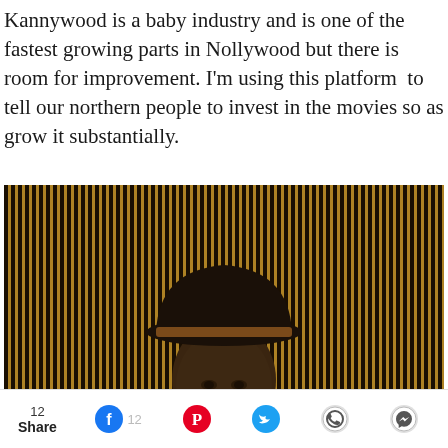Kannywood is a baby industry and is one of the fastest growing parts in Nollywood but there is room for improvement. I'm using this platform  to tell our northern people to invest in the movies so as grow it substantially.
[Figure (photo): A man wearing a dark fedora hat and an orange/burnt-sienna blazer with a blue patterned tie, standing in front of a background of vertical dark and gold stripes.]
12 Share  [Facebook] 12  [Pinterest]  [Twitter]  [WhatsApp]  [Messenger]